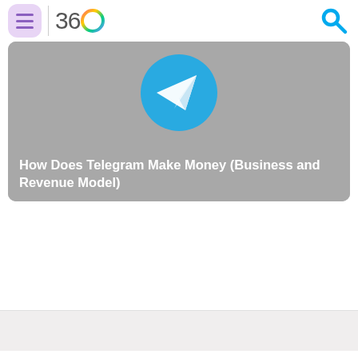360 — menu and search navigation bar
[Figure (screenshot): Telegram app logo: blue circle with white paper plane arrow, overlaid on a gray hero banner image]
How Does Telegram Make Money (Business and Revenue Model)